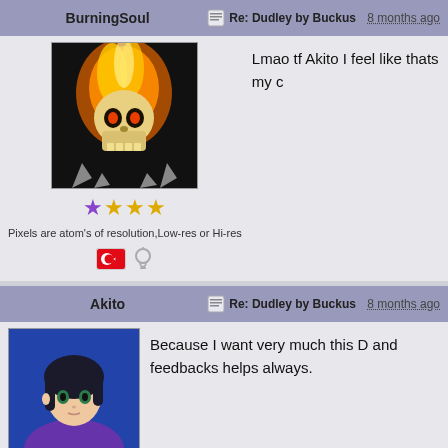BurningSoul — Re: Dudley by Buckus 8 months ago
[Figure (photo): Avatar of BurningSoul: flaming skull character with spikes]
★☆☆☆ (stars rating)
Pixels are atom's of resolution,Low-res or Hi-res
[Figure (illustration): Turkish flag icon and lightbulb icon]
Lmao tf Akito I feel like thats my c
Akito — Re: Dudley by Buckus 8 months ago
[Figure (illustration): Avatar of Akito: anime-style character with dark hair and purple outfit]
Because I want very much this D and feedbacks helps always.